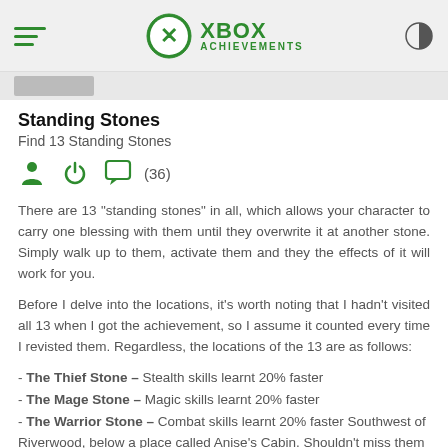XBOX ACHIEVEMENTS
Standing Stones
Find 13 Standing Stones
[Figure (infographic): Three green icons: person/user icon, power button icon, speech bubble/comment icon, followed by comment count (36)]
There are 13 "standing stones" in all, which allows your character to carry one blessing with them until they overwrite it at another stone. Simply walk up to them, activate them and they the effects of it will work for you.
Before I delve into the locations, it's worth noting that I hadn't visited all 13 when I got the achievement, so I assume it counted every time I revisted them. Regardless, the locations of the 13 are as follows:
- The Thief Stone – Stealth skills learnt 20% faster
- The Mage Stone – Magic skills learnt 20% faster
- The Warrior Stone – Combat skills learnt 20% faster Southwest of Riverwood, below a place called Anise's Cabin. Shouldn't miss them as you leave Helgen.